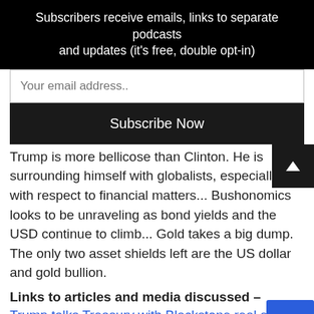Subscribers receive emails, links to separate podcasts and updates (it's free, double opt-in)
Your email address..
Subscribe Now
Trump is more bellicose than Clinton. He is surrounding himself with globalists, especially with respect to financial matters... Bushonomics looks to be unraveling as bond yields and the USD continue to climb... Gold takes a big dump. The only two asset shields left are the US dollar and gold bullion.
Links to articles and media discussed –
Trump talks Treasury with Blackstone real estate boss
Trump Said to Discuss Treasury Post With